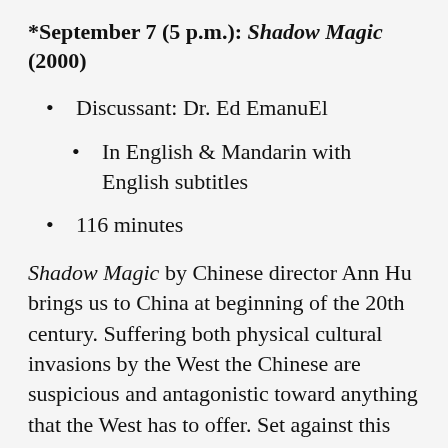*September 7 (5 p.m.): Shadow Magic (2000)
Discussant: Dr. Ed EmanuEl
In English & Mandarin with English subtitles
116 minutes
Shadow Magic by Chinese director Ann Hu brings us to China at beginning of the 20th century. Suffering both physical cultural invasions by the West the Chinese are suspicious and antagonistic toward anything that the West has to offer. Set against this historical background, Raymond Wallace, an Australian brings yet another Western innovation: the motion picture or what the Chinese literally call “shadow magic.” Wallace wants to make his fortune by establishing the very first motion picture theater in China. Not surprisingly, his efforts are met with both awe and suspicion, especially by the Dowager Empress, and bring forth the following